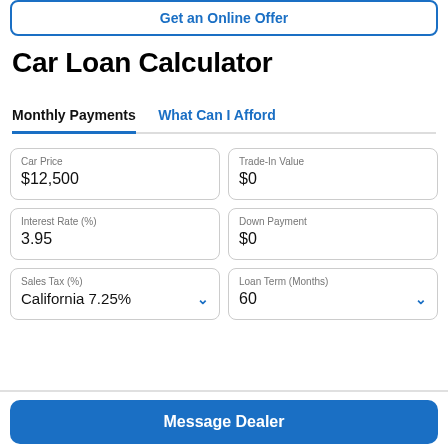Get an Online Offer
Car Loan Calculator
Monthly Payments    What Can I Afford
Car Price
$12,500
Trade-In Value
$0
Interest Rate (%)
3.95
Down Payment
$0
Sales Tax (%)
California 7.25%
Loan Term (Months)
60
Message Dealer